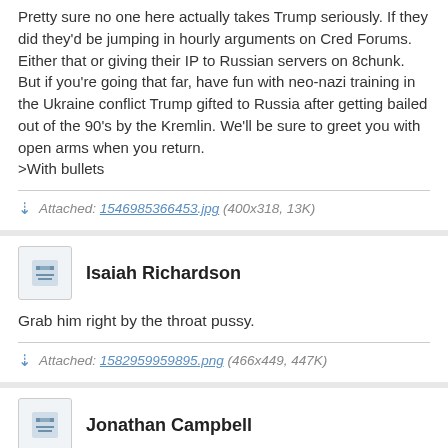Pretty sure no one here actually takes Trump seriously. If they did they'd be jumping in hourly arguments on Cred Forums. Either that or giving their IP to Russian servers on 8chunk.
But if you're going that far, have fun with neo-nazi training in the Ukraine conflict Trump gifted to Russia after getting bailed out of the 90's by the Kremlin. We'll be sure to greet you with open arms when you return.
>With bullets
Attached: 1546985366453.jpg (400x318, 13K)
Isaiah Richardson
Grab him right by the throat pussy.
Attached: 1582959959895.png (466x449, 447K)
Jonathan Campbell